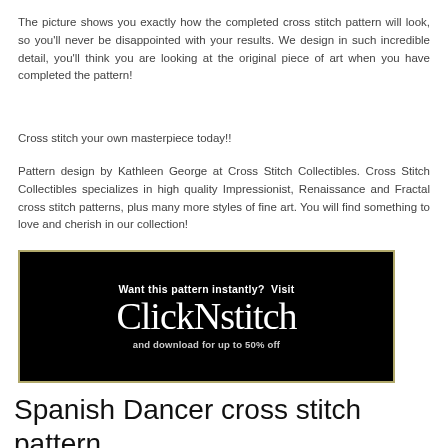The picture shows you exactly how the completed cross stitch pattern will look, so you'll never be disappointed with your results. We design in such incredible detail, you'll think you are looking at the original piece of art when you have completed the pattern!
Cross stitch your own masterpiece today!!
Pattern design by Kathleen George at Cross Stitch Collectibles. Cross Stitch Collectibles specializes in high quality Impressionist, Renaissance and Fractal cross stitch patterns, plus many more styles of fine art. You will find something to love and cherish in our collection!
[Figure (logo): ClickNstitch banner advertisement: black background with gold/olive border. Text reads: 'Want this pattern instantly? Visit ClickNstitch and download for up to 50% off']
Spanish Dancer cross stitch pattern